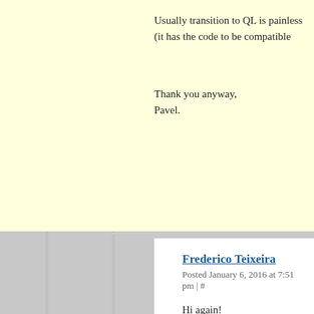Usually transition to QL is painless (it has the code to be compatible
Thank you anyway,
Pavel.
Frederico Teixeira
Posted January 6, 2016 at 7:51 pm | #
Hi again!
I'm using W3 Total Cache. Maybe its config is causing the po any latex code.
I've activated QuickLatex again in debug mode. If you could h check all parse errors (mainly amsmath conflicts not so hard to d
Page example: http://www.energiaeletrica.net/entendendo-por-qu
Thanks!